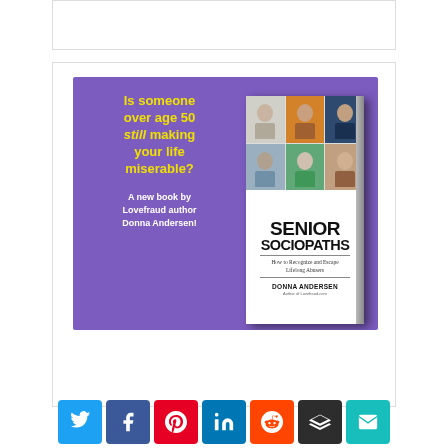[Figure (illustration): Top white box placeholder area]
[Figure (illustration): Book advertisement for 'Senior Sociopaths: How to Recognize and Escape Lifelong Abusers' by Donna Andersen. Purple background with yellow and white text reading 'Is someone over age 50 still making your life miserable? A new book by Lovefraud author Donna Andersen!' alongside a book cover with photos of elderly people.]
[Figure (infographic): Row of 7 social sharing buttons: Twitter (blue), Facebook (dark blue), Pinterest (red), LinkedIn (blue), Reddit (orange), Buffer (dark), Email (teal)]